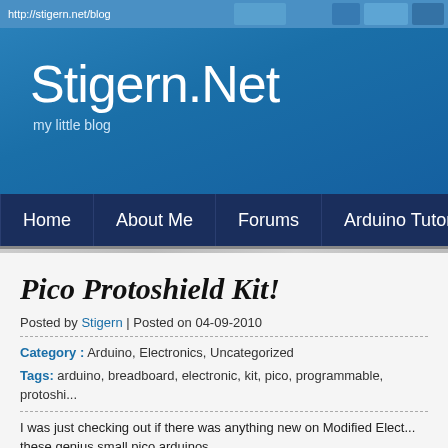http://stigern.net/blog
Stigern.Net
my little blog
Home   About Me   Forums   Arduino Tutorials   C# ...
Pico Protoshield Kit!
Posted by Stigern | Posted on 04-09-2010
Category : Arduino, Electronics, Uncategorized
Tags: arduino, breadboard, electronic, kit, pico, programmable, protoshi...
I was just checking out if there was anything new on Modified Elect... these genius small pico arduinos.